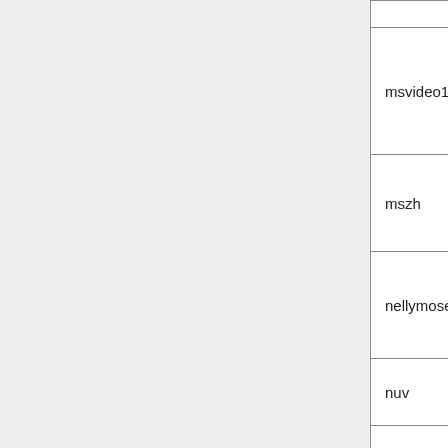| Codec | Description |
| --- | --- |
| msvideo1 | Microsoft Video 1 |
| mszh | LCL (LossLess Codec Library) MSZH |
| nellymoser | Nellymoser Asao |
| nuv | NuppelVideo/RTJP |
| pam | PAM (Portable AnyMap) image |
| pbm | PBM (Portable BitMap) image |